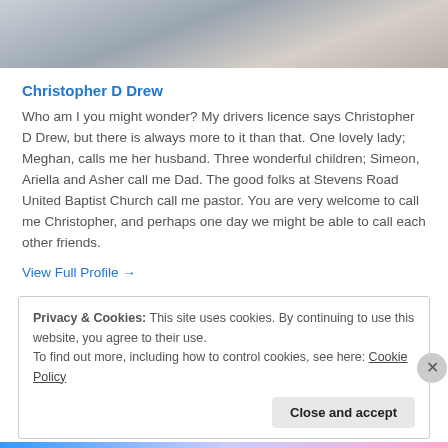[Figure (photo): Partial photo of a person in a plaid/checkered shirt, cropped at top of page]
Christopher D Drew
Who am I you might wonder? My drivers licence says Christopher D Drew, but there is always more to it than that. One lovely lady; Meghan, calls me her husband. Three wonderful children; Simeon, Ariella and Asher call me Dad. The good folks at Stevens Road United Baptist Church call me pastor. You are very welcome to call me Christopher, and perhaps one day we might be able to call each other friends.
View Full Profile →
Privacy & Cookies: This site uses cookies. By continuing to use this website, you agree to their use.
To find out more, including how to control cookies, see here: Cookie Policy